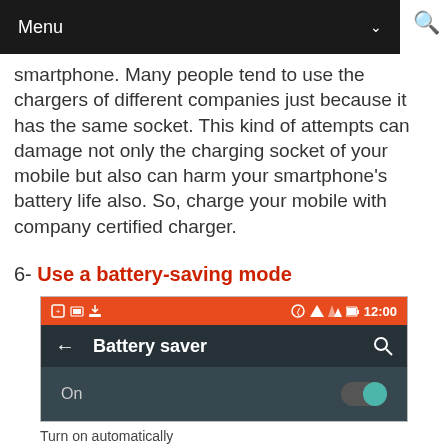Menu
smartphone. Many people tend to use the chargers of different companies just because it has the same socket. This kind of attempts can damage not only the charging socket of your mobile but also can harm your smartphone's battery life also. So, charge your mobile with company certified charger.
6- Use a battery-saving mode
[Figure (screenshot): Android phone screenshot showing Battery saver settings screen with 'On' toggle enabled (teal/green), on a dark theme UI with orange status bar showing time 12:00.]
Turn on automatically